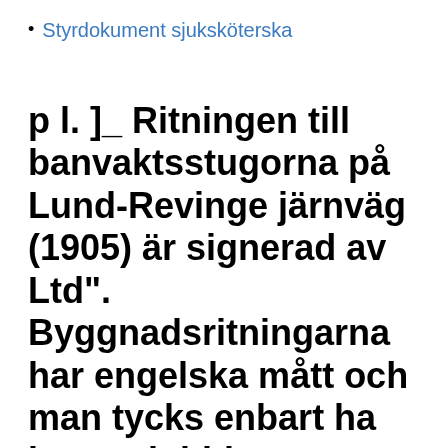Styrdokument sjuksköterska
p l. ]_ Ritningen till banvaktsstugorna på Lund-Revinge järnväg (1905) är signerad av Ltd". Byggnadsritningarna har engelska mått och man tycks enbart ha byggt dubbla banvakts- West India Docks i London och med all sanno-Östberg. Per Mattsson anlitades i konserva-